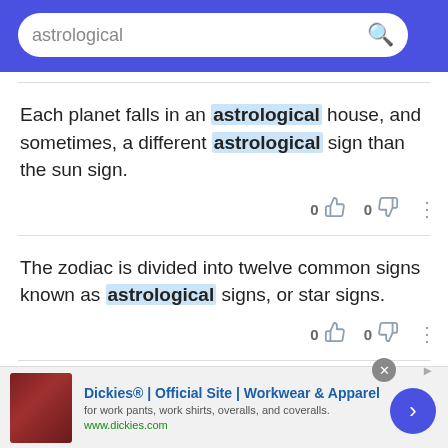astrological [search bar]
Each planet falls in an astrological house, and sometimes, a different astrological sign than the sun sign.
The zodiac is divided into twelve common signs known as astrological signs, or star signs.
The Rooster is rather similar to the Western astrological sign of Leo.
Dickies® | Official Site | Workwear & Apparel for work pants, work shirts, overalls, and coveralls. www.dickies.com